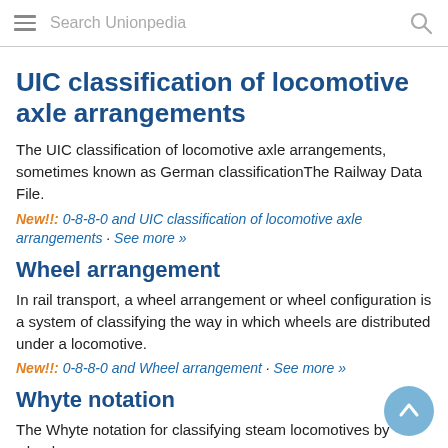Search Unionpedia
UIC classification of locomotive axle arrangements
The UIC classification of locomotive axle arrangements, sometimes known as German classificationThe Railway Data File.
New!!: 0-8-8-0 and UIC classification of locomotive axle arrangements · See more »
Wheel arrangement
In rail transport, a wheel arrangement or wheel configuration is a system of classifying the way in which wheels are distributed under a locomotive.
New!!: 0-8-8-0 and Wheel arrangement · See more »
Whyte notation
The Whyte notation for classifying steam locomotives by wheel